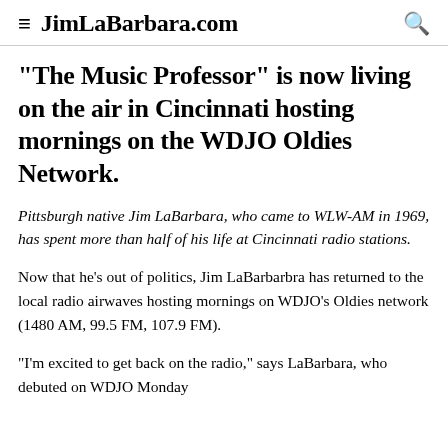≡ JimLaBarbara.com 🔍
"The Music Professor" is now living on the air in Cincinnati hosting mornings on the WDJO Oldies Network.
Pittsburgh native Jim LaBarbara, who came to WLW-AM in 1969, has spent more than half of his life at Cincinnati radio stations.
Now that he's out of politics, Jim LaBarbarbra has returned to the local radio airwaves hosting mornings on WDJO's Oldies network (1480 AM, 99.5 FM, 107.9 FM).
"I'm excited to get back on the radio," says LaBarbara, who debuted on WDJO Monday